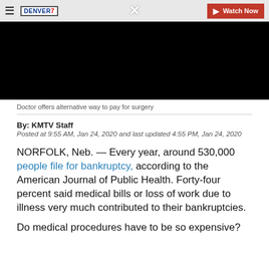≡  DENVER7  ×  Watch Now
[Figure (screenshot): Black video player area with close (X) button overlay]
Doctor offers alternative way to pay for surgery
By: KMTV Staff
Posted at 9:55 AM, Jan 24, 2020 and last updated 4:55 PM, Jan 24, 2020
NORFOLK, Neb. — Every year, around 530,000 people file for bankruptcy, according to the American Journal of Public Health. Forty-four percent said medical bills or loss of work due to illness very much contributed to their bankruptcies.
Do medical procedures have to be so expensive?